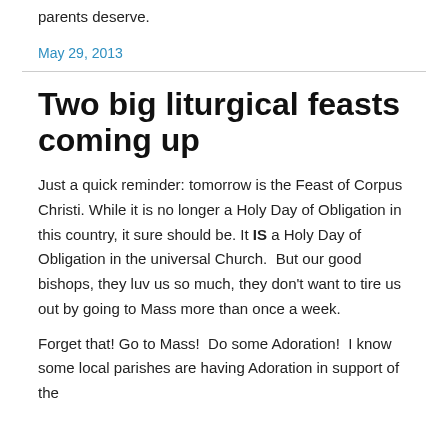parents deserve.
May 29, 2013
Two big liturgical feasts coming up
Just a quick reminder: tomorrow is the Feast of Corpus Christi. While it is no longer a Holy Day of Obligation in this country, it sure should be. It IS a Holy Day of Obligation in the universal Church.  But our good bishops, they luv us so much, they don't want to tire us out by going to Mass more than once a week.
Forget that! Go to Mass!  Do some Adoration!  I know some local parishes are having Adoration in support of the